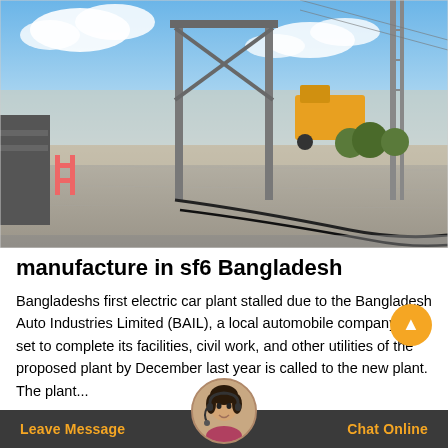[Figure (photo): Outdoor industrial electrical substation area with metal structures, cables, power lines, and construction equipment on a concrete surface under a blue sky.]
manufacture in sf6 Bangladesh
Bangladeshs first electric car plant stalled due to the Bangladesh Auto Industries Limited (BAIL), a local automobile company, was set to complete its facilities, civil work, and other utilities of the proposed plant by December last year is called to the new plant. The plant...